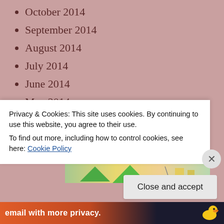October 2014
September 2014
August 2014
July 2014
June 2014
May 2014
April 2014
March 2014
February 2014
Advertisements
Privacy & Cookies: This site uses cookies. By continuing to use this website, you agree to their use.
To find out more, including how to control cookies, see here: Cookie Policy
Close and accept
email with more privacy.